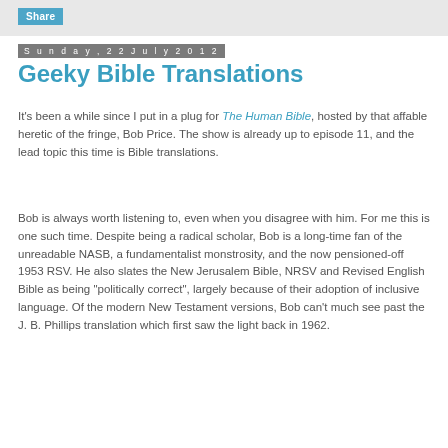Share
Sunday, 22 July 2012
Geeky Bible Translations
It's been a while since I put in a plug for The Human Bible, hosted by that affable heretic of the fringe, Bob Price.  The show is already up to episode 11, and the lead topic this time is Bible translations.
Bob is always worth listening to, even when you disagree with him.  For me this is one such time.  Despite being a radical scholar, Bob is a long-time fan of the unreadable NASB, a fundamentalist monstrosity, and the now pensioned-off 1953 RSV.  He also slates the New Jerusalem Bible, NRSV and Revised English Bible as being "politically correct", largely because of their adoption of inclusive language.  Of the modern New Testament versions, Bob can't much see past the J. B. Phillips translation which first saw the light back in 1962.